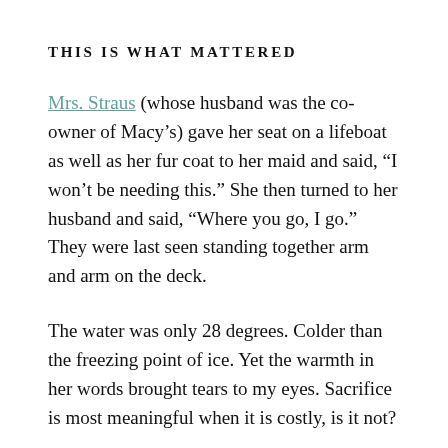THIS IS WHAT MATTERED
Mrs. Straus (whose husband was the co-owner of Macy's) gave her seat on a lifeboat as well as her fur coat to her maid and said, “I won’t be needing this.” She then turned to her husband and said, “Where you go, I go.” They were last seen standing together arm and arm on the deck.
The water was only 28 degrees. Colder than the freezing point of ice. Yet the warmth in her words brought tears to my eyes. Sacrifice is most meaningful when it is costly, is it not?